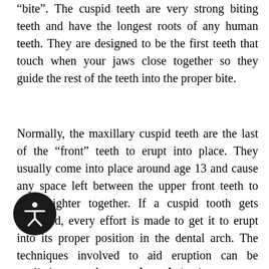“bite”. The cuspid teeth are very strong biting teeth and have the longest roots of any human teeth. They are designed to be the first teeth that touch when your jaws close together so they guide the rest of the teeth into the proper bite.
Normally, the maxillary cuspid teeth are the last of the “front” teeth to erupt into place. They usually come into place around age 13 and cause any space left between the upper front teeth to close tighter together. If a cuspid tooth gets impacted, every effort is made to get it to erupt into its proper position in the dental arch. The techniques involved to aid eruption can be applied to any impacted tooth in the upper or lower jaw, but most commonly they are applied to the maxillary cuspid (upper eye) teeth. Sixty percent of